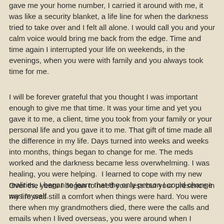gave me your home number, I carried it around with me, it was like a security blanket, a life line for when the darkness tried to take over and I felt all alone. I would call you and your calm voice would bring me back from the edge. Time and time again I interrupted your life on weekends, in the evenings, when you were with family and you always took time for me.
I will be forever grateful that you thought I was important enough to give me that time. It was your time and yet you gave it to me, a client, time you took from your family or your personal life and you gave it to me. That gift of time made all the difference in my life. Days turned into weeks and weeks into months, things began to change for me. The meds worked and the darkness became less overwhelming. I was healing, you were helping. I learned to cope with my new realities, I began to learn that the only person I could change was myself.
Over the years I began to need you less but your presence in my life was still a comfort when things were hard. You were there when my grandmothers died, there were the calls and emails when I lived overseas, you were around when I stressed about getting married and after we adopted, I